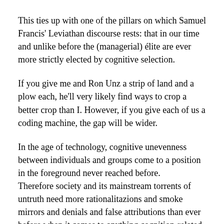This ties up with one of the pillars on which Samuel Francis' Leviathan discourse rests: that in our time and unlike before the (managerial) élite are ever more strictly elected by cognitive selection.
If you give me and Ron Unz a strip of land and a plow each, he'll very likely find ways to crop a better crop than I. However, if you give each of us a coding machine, the gap will be wider.
In the age of technology, cognitive unevenness between individuals and groups come to a position in the foreground never reached before.
Therefore society and its mainstream torrents of untruth need more rationalitazions and smoke mirrors and denials and false attributions than ever before when it comes to anything cognition-related.
See not “how much” but how, the SAT test has been altered. It’s been altered to give more weight to performance, and